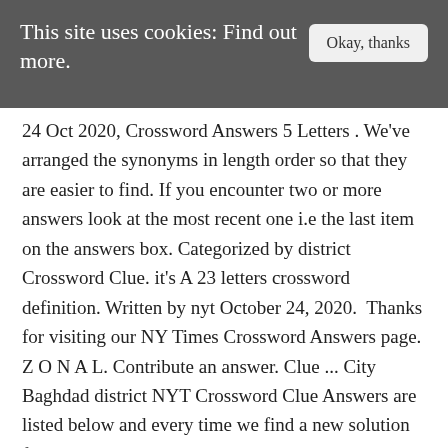This site uses cookies: Find out more.
Okay, thanks
24 Oct 2020, Crossword Answers 5 Letters . We've arranged the synonyms in length order so that they are easier to find. If you encounter two or more answers look at the most recent one i.e the last item on the answers box. Categorized by district Crossword Clue. it's A 23 letters crossword definition. Written by nyt October 24, 2020. Thanks for visiting our NY Times Crossword Answers page. Z O N A L. Contribute an answer. Clue ... City Baghdad district NYT Crossword Clue Answers are listed below and every time we find a new solution for this clue we add it on the answers list. The N...